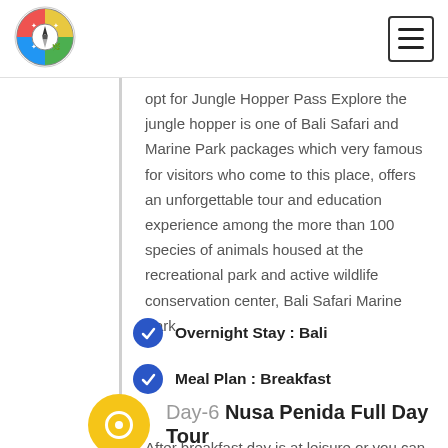[Figure (logo): Round compass-style tour company logo with colorful quadrants]
Opt for Jungle Hopper Pass Explore the jungle hopper is one of Bali Safari and Marine Park packages which very famous for visitors who come to this place, offers an unforgettable tour and education experience among the more than 100 species of animals housed at the recreational park and active wildlife conservation center, Bali Safari Marine Park.
Overnight Stay : Bali
Meal Plan : Breakfast
Day-6 Nusa Penida Full Day Tour
After breakfast day is at leisure or you can Opt